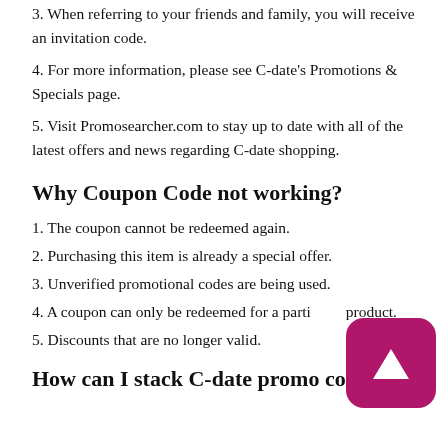3. When referring to your friends and family, you will receive an invitation code.
4. For more information, please see C-date's Promotions & Specials page.
5. Visit Promosearcher.com to stay up to date with all of the latest offers and news regarding C-date shopping.
Why Coupon Code not working?
1. The coupon cannot be redeemed again.
2. Purchasing this item is already a special offer.
3. Unverified promotional codes are being used.
4. A coupon can only be redeemed for a particular product.
5. Discounts that are no longer valid.
How can I stack C-date promo code?